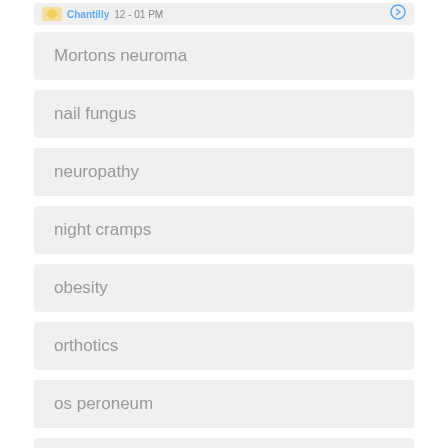[Figure (screenshot): Partial top banner showing a location/appointment UI element with an icon, 'Chantilly' text in blue, '12 - 01 PM' time, and a circular button]
Mortons neuroma
nail fungus
neuropathy
night cramps
obesity
orthotics
os peroneum
osteomyelitis